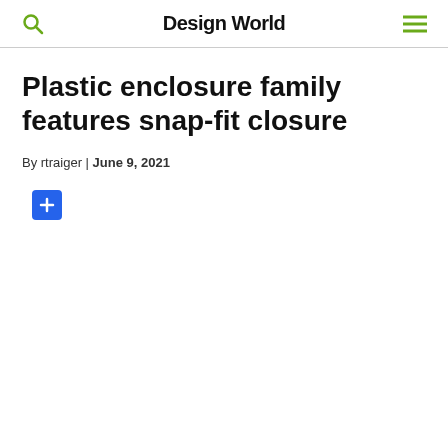Design World
Plastic enclosure family features snap-fit closure
By rtraiger | June 9, 2021
[Figure (other): Blue square button with a white plus (+) icon]